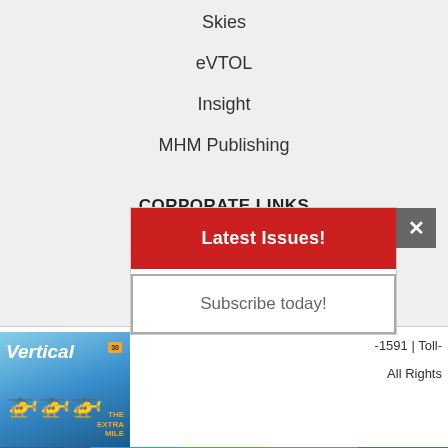Skies
eVTOL
Insight
MHM Publishing
CORPORATE LINKS
Advertising Inquiry
Media Kit
[Figure (screenshot): Vertical magazine cover showing helicopters with 'THE EXTRA MILE' text, blue sky background]
-1591 | Toll-
All Rights
Latest Issues!
Subscribe today!
[Figure (infographic): Social media sharing bar with Facebook, Twitter, Share, Email, and Messenger buttons]